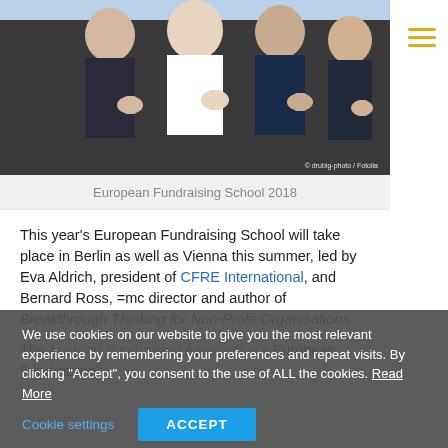[Figure (photo): Group of people in business attire giving thumbs up, partially cropped at top]
European Fundraising School 2018
This year’s European Fundraising School will take place in Berlin as well as Vienna this summer, led by Eva Aldrich, president of CFRE International, and Bernard Ross, =mc director and author of Breakthrough Thinking for Non-Profit Organisations.
The Austrian Fundraising Association’s European Fundraising
We use cookies on our website to give you the most relevant experience by remembering your preferences and repeat visits. By clicking “Accept”, you consent to the use of ALL the cookies. Read More
Cookie settings   ACCEPT